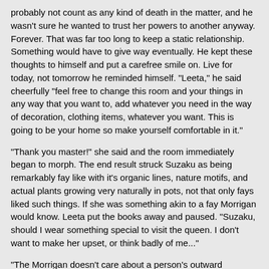probably not count as any kind of death in the matter, and he wasn't sure he wanted to trust her powers to another anyway. Forever. That was far too long to keep a static relationship. Something would have to give way eventually. He kept these thoughts to himself and put a carefree smile on. Live for today, not tomorrow he reminded himself. "Leeta," he said cheerfully "feel free to change this room and your things in any way that you want to, add whatever you need in the way of decoration, clothing items, whatever you want. This is going to be your home so make yourself comfortable in it."
"Thank you master!" she said and the room immediately began to morph. The end result struck Suzaku as being remarkably fay like with it's organic lines, nature motifs, and actual plants growing very naturally in pots, not that only fays liked such things. If she was something akin to a fay Morrigan would know. Leeta put the books away and paused. "Suzaku, should I wear something special to visit the queen. I don't want to make her upset, or think badly of me..."
"The Morrigan doesn't care about a person's outward appearance," said Suzaku. "Dress however you like."
Leeta looked at the handsome man with his loose fitting brilliant red tunic fastened with an elegant belt and loose orange silk trousers that were gathered to his ankles with a band like cuff. Even though he was bare feet, with rather sharp toenails, he gave off an air of casual masculine